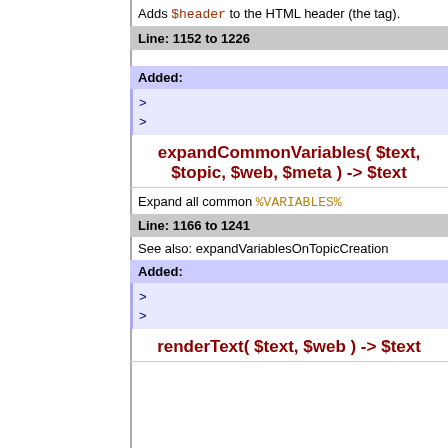Adds $header to the HTML header (the tag).
Line: 1152 to 1226
Added:
expandCommonVariables( $text, $topic, $web, $meta ) -> $text
Expand all common %VARIABLES%
Line: 1166 to 1241
See also: expandVariablesOnTopicCreation
Added:
renderText( $text, $web ) -> $text